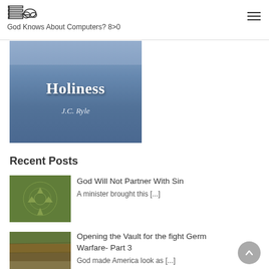God Knows About Computers? 8>0
[Figure (illustration): Book cover image for 'Holiness' by J.C. Ryle, blue gradient background with title and author text]
Recent Posts
[Figure (photo): Aerial photo of crop circles in a green field]
God Will Not Partner With Sin
A minister brought this [...]
[Figure (photo): Aerial photo of farmland fields, earth tones]
Opening the Vault for the fight Germ Warfare- Part 3
God made America look as [...]